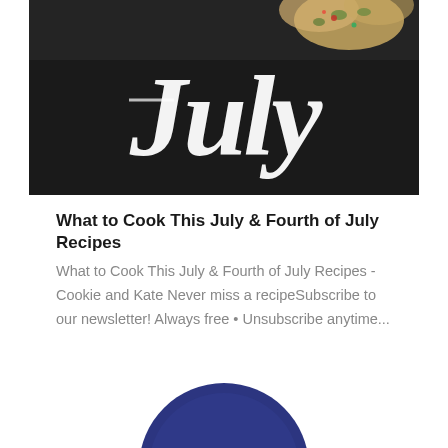[Figure (photo): Dark background food photo with cursive white 'July' text overlay, tacos/food items visible at top]
What to Cook This July & Fourth of July Recipes
What to Cook This July & Fourth of July Recipes - Cookie and Kate Never miss a recipeSubscribe to our newsletter! Always free • Unsubscribe anytime...
[Figure (photo): Partial blue/dark navy circular avatar or logo at bottom center of page]